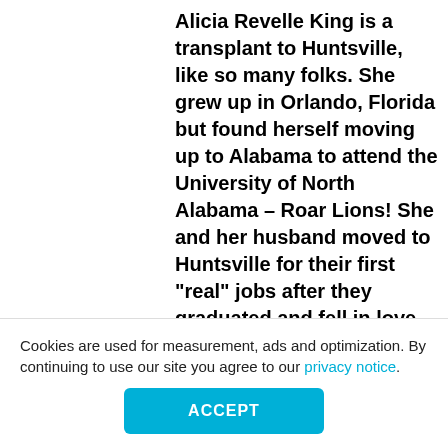Alicia Revelle King is a transplant to Huntsville, like so many folks. She grew up in Orlando, Florida but found herself moving up to Alabama to attend the University of North Alabama – Roar Lions! She and her husband moved to Huntsville for their first “real” jobs after they graduated and fell in love with
Cookies are used for measurement, ads and optimization. By continuing to use our site you agree to our privacy notice.